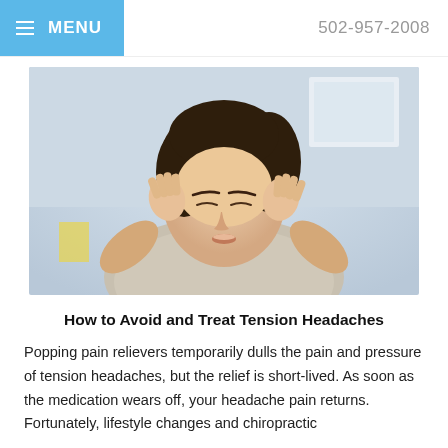≡ MENU    502-957-2008
[Figure (photo): Woman with dark hair holding both hands to her temples with eyes closed, appearing to be in pain from a headache, wearing a light sweater in a blurred indoor background.]
How to Avoid and Treat Tension Headaches
Popping pain relievers temporarily dulls the pain and pressure of tension headaches, but the relief is short-lived. As soon as the medication wears off, your headache pain returns. Fortunately, lifestyle changes and chiropractic